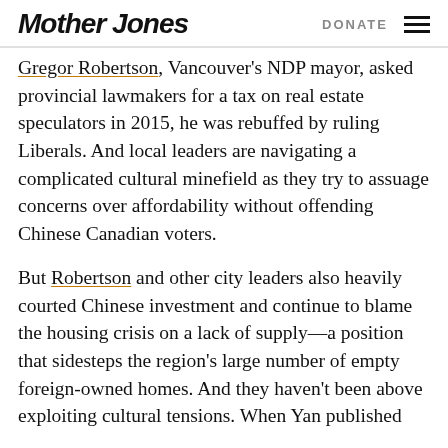Mother Jones | DONATE
Gregor Robertson, Vancouver's NDP mayor, asked provincial lawmakers for a tax on real estate speculators in 2015, he was rebuffed by ruling Liberals. And local leaders are navigating a complicated cultural minefield as they try to assuage concerns over affordability without offending Chinese Canadian voters.
But Robertson and other city leaders also heavily courted Chinese investment and continue to blame the housing crisis on a lack of supply—a position that sidesteps the region's large number of empty foreign-owned homes. And they haven't been above exploiting cultural tensions. When Yan published